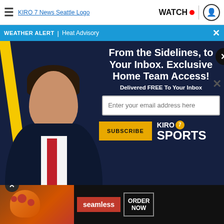≡  KIRO 7 News Seattle Logo  WATCH 🔴  👤
WEATHER ALERT  |  Heat Advisory  ×
[Figure (screenshot): Modal popup overlay on KIRO 7 News Seattle website. Shows a man in a dark suit with red tie against a dark blue background with yellow diagonal stripe. Modal text reads: 'From the Sidelines, to Your Inbox. Exclusive Home Team Access! Delivered FREE To Your Inbox'. Email subscription input field with SUBSCRIBE button and KIRO 7 Sports logo. Close X button on modal. Behind modal: partial image of doorbell camera, with 'heir Doorbell' text visible and a 'Learn More' button. Bottom: X close button for bottom ad bar.]
From the Sidelines, to Your Inbox. Exclusive Home Team Access!
Delivered FREE To Your Inbox
Enter your email address here
SUBSCRIBE
KIRO 7 SPORTS
heir Doorbell
Learn More
seamless  ORDER NOW